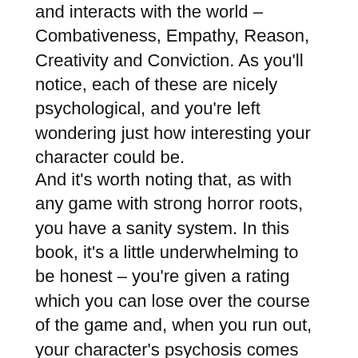and interacts with the world – Combativeness, Empathy, Reason, Creativity and Conviction. As you'll notice, each of these are nicely psychological, and you're left wondering just how interesting your character could be.
And it's worth noting that, as with any game with strong horror roots, you have a sanity system. In this book, it's a little underwhelming to be honest – you're given a rating which you can lose over the course of the game and, when you run out, your character's psychosis comes into play. This can make for interesting gameplay if your character's innate  psychosis is manic, or a more sombre mood if your character is melancholic. Unfortunately  as of this one PDF, this doesn't amount to much more than advice to  roleplay these moods – they have no in-game systemic impact. At least, not yet.